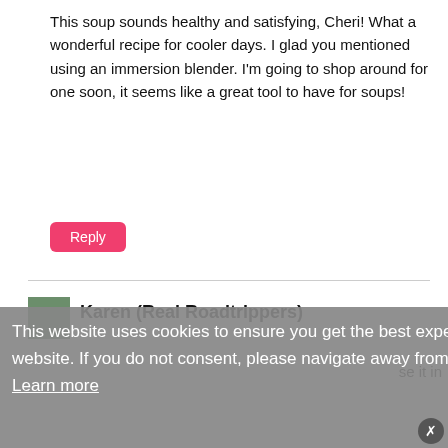This soup sounds healthy and satisfying, Cheri! What a wonderful recipe for cooler days. I glad you mentioned using an immersion blender. I'm going to shop around for one soon, it seems like a great tool to have for soups!
Reply
This website uses cookies to ensure you get the best experience on our website. If you do not consent, please navigate away from the website.  Learn more
I get it & consent to cookies